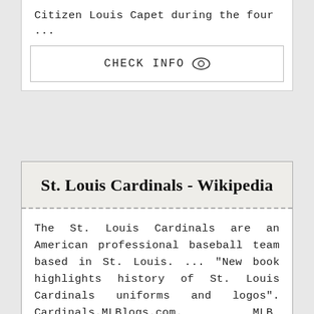Citizen Louis Capet during the four ...
CHECK INFO
St. Louis Cardinals - Wikipedia
The St. Louis Cardinals are an American professional baseball team based in St. Louis. ... "New book highlights history of St. Louis Cardinals uniforms and logos". Cardinals.MLBlogs.com. MLB Advanced Media. Retrieved December 2,...
CHECK INFO